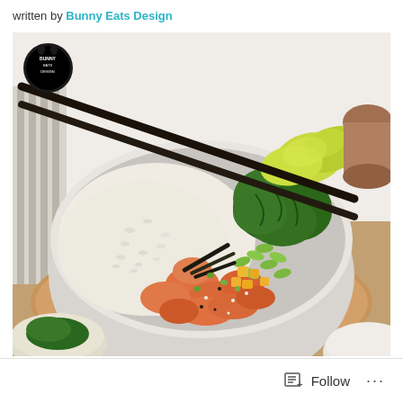written by Bunny Eats Design
[Figure (photo): A poke bowl photographed from above-angle, containing rice, raw salmon chunks, edamame, diced mango, seaweed salad, sliced avocado, nori strips, sesame seeds, and green onions in a grey ceramic bowl with chopsticks resting on top. The bowl sits on a wooden surface. A small 'Bunny Eats Design' logo badge is visible in the top-left corner of the image.]
Follow ...